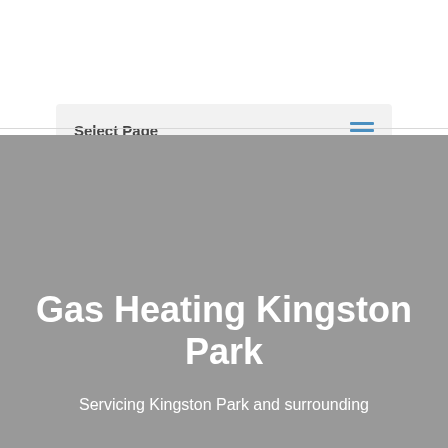Select Page
Gas Heating Kingston Park
Servicing Kingston Park and surrounding